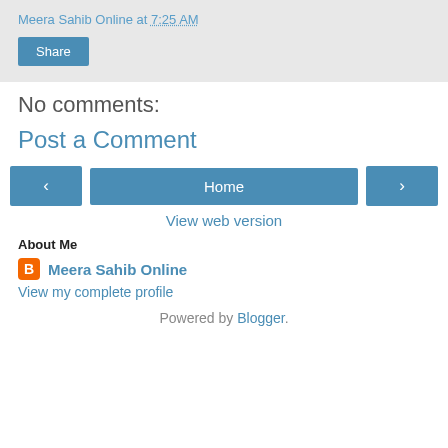Meera Sahib Online at 7:25 AM
Share
No comments:
Post a Comment
[Figure (other): Navigation buttons: left arrow, Home, right arrow]
View web version
About Me
Meera Sahib Online
View my complete profile
Powered by Blogger.